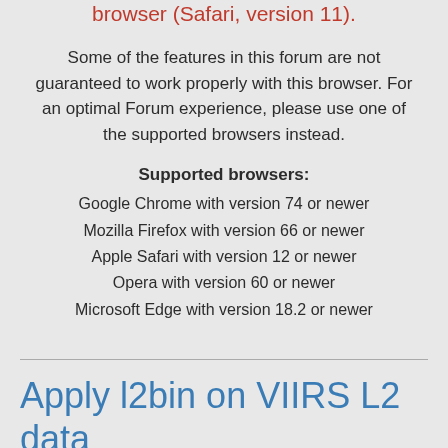browser (Safari, version 11).
Some of the features in this forum are not guaranteed to work properly with this browser. For an optimal Forum experience, please use one of the supported browsers instead.
Supported browsers:
Google Chrome with version 74 or newer
Mozilla Firefox with version 66 or newer
Apple Safari with version 12 or newer
Opera with version 60 or newer
Microsoft Edge with version 18.2 or newer
Apply l2bin on VIIRS L2 data